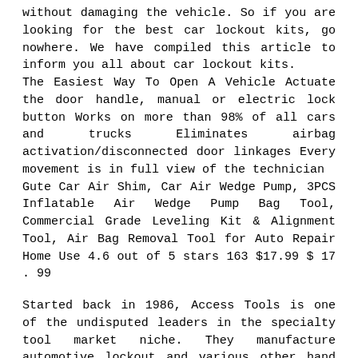without damaging the vehicle. So if you are looking for the best car lockout kits, go nowhere. We have compiled this article to inform you all about car lockout kits.
The Easiest Way To Open A Vehicle Actuate the door handle, manual or electric lock button Works on more than 98% of all cars and trucks Eliminates airbag activation/disconnected door linkages Every movement is in full view of the technician
Gute Car Air Shim, Car Air Wedge Pump, 3PCS Inflatable Air Wedge Pump Bag Tool, Commercial Grade Leveling Kit & Alignment Tool, Air Bag Removal Tool for Auto Repair Home Use 4.6 out of 5 stars 163 $17.99 $ 17 . 99
Started back in 1986, Access Tools is one of the undisputed leaders in the specialty tool market niche. They manufacture automotive lockout and various other hand tools and accessories for towing, repossession, and security industries, automotive locksmiths, road service providers, fire departments, and police officers.
Shop for Steck Manufacturing Lockout Kit Part #: 32955 for your vehicle. Get product details, choose a store, and get directions. Place your order online today and pick it up in store at your